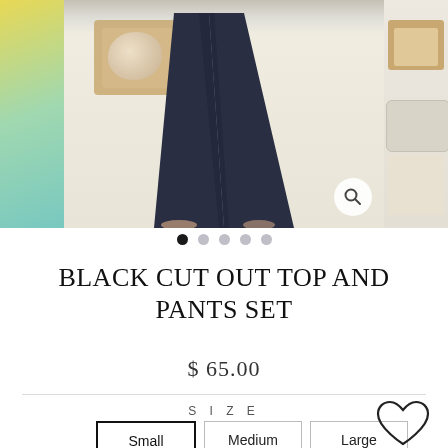[Figure (photo): Product image carousel showing navy wide-leg pants. Left panel: blurred yellow/teal background. Center panel: model wearing navy wide-leg pants with wicker bag. Right panel: shelf with cushion and blanket. Zoom icon visible bottom right.]
● ○ ○ ○ ○ (carousel navigation dots)
BLACK CUT OUT TOP AND PANTS SET
$ 65.00
SIZE
Small  Medium  Large